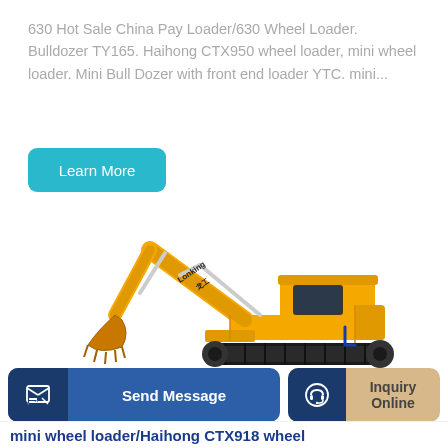630 Hot Sale China Pay Loader/630 Wheel Loader. Bulldozer TY165. Haihong CTX950 wheel loader, mini wheel loader. Mini Bull Dozer with front end loader YTC. mini...
[Figure (other): Learn More button — teal/cyan rounded rectangle button with white text]
[Figure (photo): Yellow Lonking brand large crawler excavator on white background, showing extended arm with bucket and tracks]
[Figure (other): Send Message button (dark blue) with icon on left, and Inquiry Online button (tan/beige) with headset icon on left, at bottom of page]
mini wheel loader/Haihong CTX918 wheel